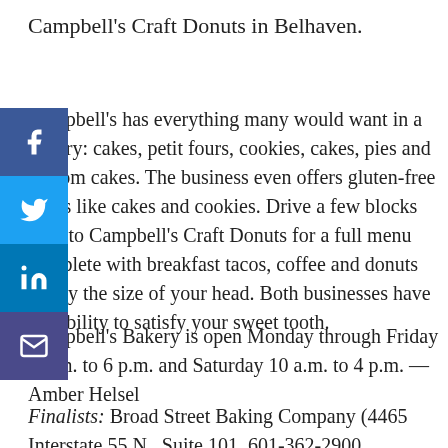Campbell's Craft Donuts in Belhaven.
Campbell's has everything many would want in a bakery: cakes, petit fours, cookies, cakes, pies and custom cakes. The business even offers gluten-free treats like cakes and cookies. Drive a few blocks over to Campbell's Craft Donuts for a full menu complete with breakfast tacos, coffee and donuts nearly the size of your head. Both businesses have the ability to satisfy your sweet tooth.
Campbell's Bakery is open Monday through Friday 9 a.m. to 6 p.m. and Saturday 10 a.m. to 4 p.m. —Amber Helsel
Finalists: Broad Street Baking Company (4465 Interstate 55 N., Suite 101, 601-362-2900, broadstbakery.com) / La